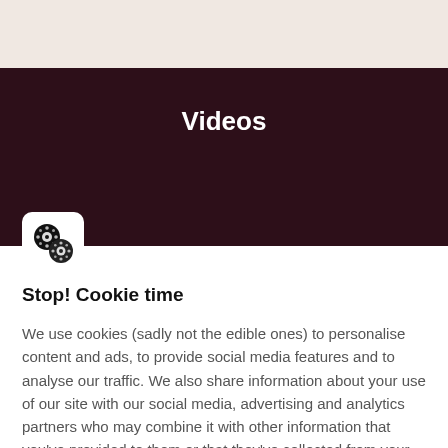[Figure (other): Beige top background strip]
Videos
[Figure (other): Film reel icon in white rounded square, overlapping bottom of dark banner]
Stop! Cookie time
We use cookies (sadly not the edible ones) to personalise content and ads, to provide social media features and to analyse our traffic. We also share information about your use of our site with our social media, advertising and analytics partners who may combine it with other information that you've provided to them or that they've collected from your use of their services. You consent to our cookies if you continue to use this website.
Manage cookies
I ACCEPT